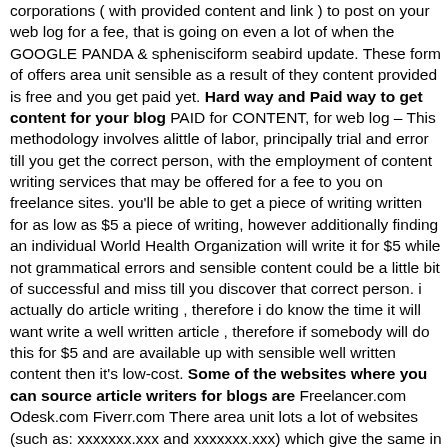corporations ( with provided content and link ) to post on your web log for a fee, that is going on even a lot of when the GOOGLE PANDA & sphenisciform seabird update. These form of offers area unit sensible as a result of they content provided is free and you get paid yet. Hard way and Paid way to get content for your blog PAID for CONTENT, for web log – This methodology involves alittle of labor, principally trial and error till you get the correct person, with the employment of content writing services that may be offered for a fee to you on freelance sites. you'll be able to get a piece of writing written for as low as $5 a piece of writing, however additionally finding an individual World Health Organization will write it for $5 while not grammatical errors and sensible content could be a little bit of successful and miss till you discover that correct person. i actually do article writing , therefore i do know the time it will want write a well written article , therefore if somebody will do this for $5 and are available up with sensible well written content then it's low-cost. Some of the websites where you can source article writers for blogs are Freelancer.com Odesk.com Fiverr.com There area unit lots a lot of websites (such as: xxxxxxx.xxx and xxxxxxx.xxx) which give the same in a...